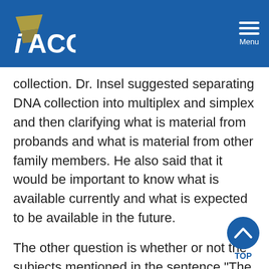IACC Menu
collection. Dr. Insel suggested separating DNA collection into multiplex and simplex and then clarifying what is material from probands and what is material from other family members. He also said that it would be important to know what is available currently and what is expected to be available in the future.
The other question is whether or not the subjects mentioned in the sentence "The NIMH-funded Center for Collaborative Genomics Studies on Mental Disorders (CCGSMD) at Rutgers University currently